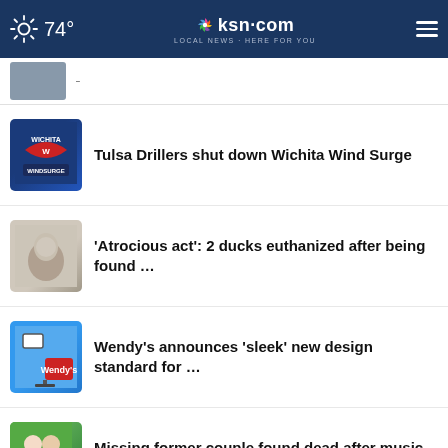74° | ksn.com LOCAL NEWS · HERE FOR YOU
(partial story - cropped headline)
Tulsa Drillers shut down Wichita Wind Surge
'Atrocious act': 2 ducks euthanized after being found …
Wendy's announces 'sleek' new design standard for …
Missing former couple found dead after music and …
More Stories ›